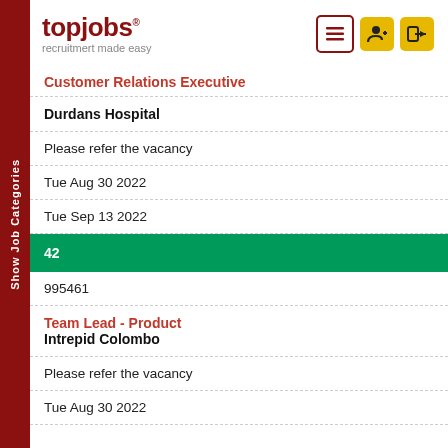[Figure (logo): topjobs logo with tagline 'recruitment made easy' and navigation icons]
Customer Relations Executive
Durdans Hospital
Please refer the vacancy
Tue Aug 30 2022
Tue Sep 13 2022
42
995461
Team Lead - Product
Intrepid Colombo
Please refer the vacancy
Tue Aug 30 2022